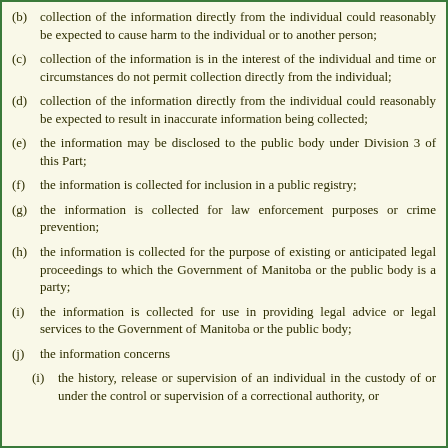(b) collection of the information directly from the individual could reasonably be expected to cause harm to the individual or to another person;
(c) collection of the information is in the interest of the individual and time or circumstances do not permit collection directly from the individual;
(d) collection of the information directly from the individual could reasonably be expected to result in inaccurate information being collected;
(e) the information may be disclosed to the public body under Division 3 of this Part;
(f) the information is collected for inclusion in a public registry;
(g) the information is collected for law enforcement purposes or crime prevention;
(h) the information is collected for the purpose of existing or anticipated legal proceedings to which the Government of Manitoba or the public body is a party;
(i) the information is collected for use in providing legal advice or legal services to the Government of Manitoba or the public body;
(j) the information concerns
(i) the history, release or supervision of an individual in the custody of or under the control or supervision of a correctional authority, or